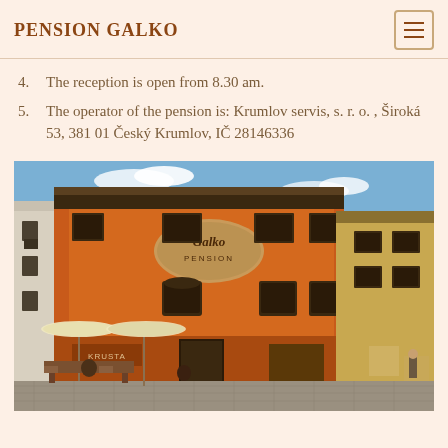PENSION GALKO
4. The reception is open from 8.30 am.
5. The operator of the pension is: Krumlov servis, s. r. o. , Široká 53, 381 01 Český Krumlov, IČ 28146336
[Figure (photo): Exterior photograph of Pension Galko building in Český Krumlov. An orange-painted historical building with 'Galko Pension' sign on the facade. Street-level shops and cafe with white umbrellas on the left side. Cobblestone street in front.]